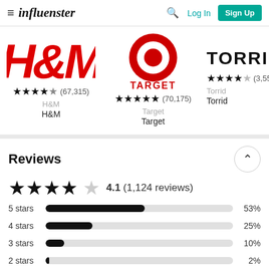influenster — Log In | Sign Up
[Figure (logo): H&M logo in red italic bold text]
★★★★½ (67,315)
H&M
H&M
[Figure (logo): Target bullseye logo in red with TARGET text below]
★★★★★ (70,175)
Target
Target
[Figure (logo): Torrid logo in black bold text (partially visible)]
★★★★½ (3,550)
Torrid
Torrid
Reviews
4.1 (1,124 reviews)
5 stars 53%
4 stars 25%
3 stars 10%
2 stars 2%